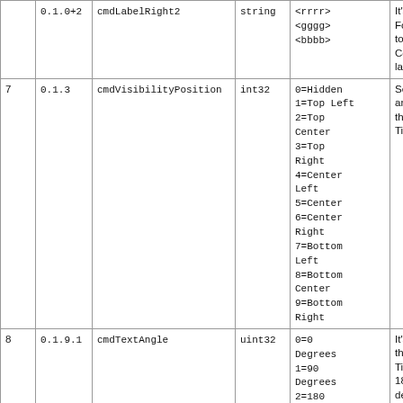| # | Version | Name | Type | Values | Description |
| --- | --- | --- | --- | --- | --- |
|  | 0.1.0+2 | cmdLabelRight2 | string | <rrrr>
<gggg>
<bbbb> | It's the Foreground to be used Command label |
| 7 | 0.1.3 | cmdVisibilityPosition | int32 | 0=Hidden
1=Top Left
2=Top Center
3=Top Right
4=Center Left
5=Center
6=Center Right
7=Bottom Left
8=Bottom Center
9=Bottom Right | Sets the V and Positi the Comm Title label |
| 8 | 0.1.9.1 | cmdTextAngle | uint32 | 0=0 Degrees
1=90 Degrees
2=180 Degrees
3=270 Degrees | It's the rota the Comm Title Label 180, 270 degrees) |
| 9 | 0.1.0 | cmdJustify | int32 | 0=Left | It's the |